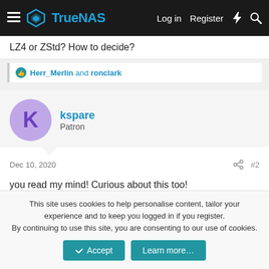TrueNAS — Log in  Register
LZ4 or ZStd? How to decide?
👍 Herr_Merlin and ronclark
kspare
Patron
Dec 10, 2020  #2
you read my mind! Curious about this too!
👍 Herr_Merlin and ronclark
Chris Moore
This site uses cookies to help personalise content, tailor your experience and to keep you logged in if you register.
By continuing to use this site, you are consenting to our use of cookies.